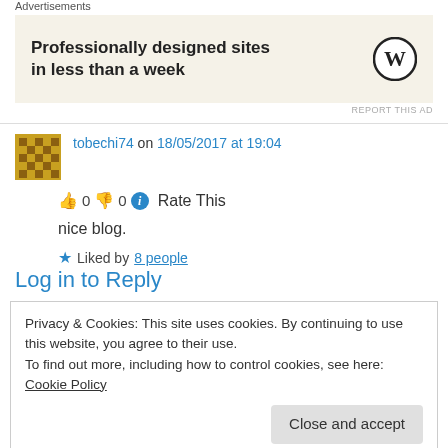Advertisements
[Figure (other): Advertisement banner: 'Professionally designed sites in less than a week' with WordPress logo]
REPORT THIS AD
tobechi74 on 18/05/2017 at 19:04
👍 0 👎 0 ℹ Rate This
nice blog.
★ Liked by 8 people
Log in to Reply
Privacy & Cookies: This site uses cookies. By continuing to use this website, you agree to their use.
To find out more, including how to control cookies, see here: Cookie Policy
Close and accept
Thanks, dear friend 🙂